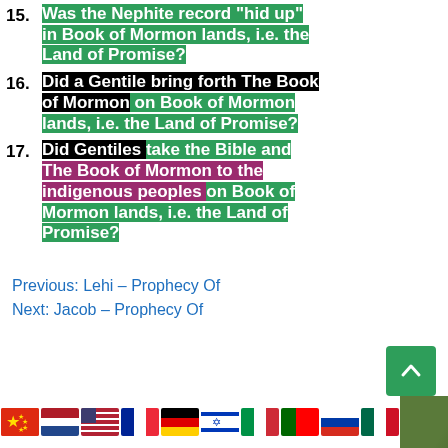15. Was the Nephite record "hid up" in Book of Mormon lands, i.e. the Land of Promise?
16. Did a Gentile bring forth The Book of Mormon on Book of Mormon lands, i.e. the Land of Promise?
17. Did Gentiles take the Bible and The Book of Mormon to the indigenous peoples on Book of Mormon lands, i.e. the Land of Promise?
Previous: Lehi – Prophecy Of
Next: Jacob – Prophecy Of